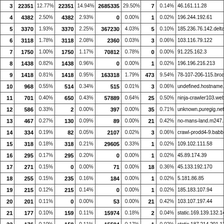| # | Req | % | ReqOk | % | Bytes | % | IPs | % | Host |
| --- | --- | --- | --- | --- | --- | --- | --- | --- | --- |
| 3 | 22351 | 12.77% | 22351 | 14.94% | 2685335 | 29.50% | 7 | 0.14% | 46.161.11.28 |
| 4 | 4382 | 2.50% | 4382 | 2.93% | 0 | 0.00% | 1 | 0.02% | 196.244.192.61 |
| 5 | 3370 | 1.93% | 3370 | 2.25% | 367230 | 4.03% | 5 | 0.10% | 185.236.76.142.deltahos |
| 6 | 3118 | 1.78% | 3118 | 2.08% | 2360 | 0.03% | 3 | 0.06% | 103.116.79.122 |
| 7 | 1750 | 1.00% | 1750 | 1.17% | 70812 | 0.78% | 0 | 0.00% | 91.225.162.3 |
| 8 | 1438 | 0.82% | 1438 | 0.96% | 0 | 0.00% | 1 | 0.02% | 196.196.216.213 |
| 9 | 1418 | 0.81% | 1418 | 0.95% | 163318 | 1.79% | 473 | 9.54% | 78-107-206-115.broadba |
| 10 | 968 | 0.55% | 514 | 0.34% | 515 | 0.01% | 3 | 0.06% | undefined.hostname.loca |
| 11 | 701 | 0.40% | 650 | 0.43% | 57889 | 0.64% | 25 | 0.50% | ninja-crawler103.webme |
| 12 | 586 | 0.33% | 2 | 0.00% | 397 | 0.00% | 35 | 0.71% | unknown.puregig.net |
| 13 | 467 | 0.27% | 130 | 0.09% | 89 | 0.00% | 21 | 0.42% | no-mans-land.m247.com |
| 14 | 334 | 0.19% | 82 | 0.05% | 2107 | 0.02% | 3 | 0.06% | crawl-prodd4-9.babbar.e |
| 15 | 318 | 0.18% | 318 | 0.21% | 29605 | 0.33% | 1 | 0.02% | 109.102.111.58 |
| 16 | 295 | 0.17% | 295 | 0.20% | 0 | 0.00% | 1 | 0.02% | 45.89.174.39 |
| 17 | 271 | 0.15% | 0 | 0.00% | 71 | 0.00% | 18 | 0.36% | 45.133.192.170 |
| 18 | 255 | 0.15% | 235 | 0.16% | 184 | 0.00% | 1 | 0.02% | 5.181.86.85 |
| 19 | 215 | 0.12% | 215 | 0.14% | 0 | 0.00% | 1 | 0.02% | 185.183.107.94 |
| 20 | 201 | 0.11% | 0 | 0.00% | 53 | 0.00% | 21 | 0.42% | 103.107.197.44 |
| 21 | 177 | 0.10% | 159 | 0.11% | 15974 | 0.18% | 2 | 0.04% | static.169.139.132.142.c |
| 22 | 176 | 0.10% | 158 | 0.11% | 15584 | 0.17% | 1 | 0.02% | static.187.214.201.138.c |
| 23 | 169 | 0.10% | 0 | 0.00% | 44 | 0.00% | 11 | 0.22% | 37.120.144.231 |